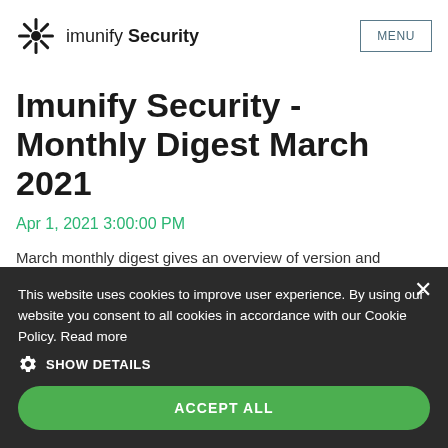[Figure (logo): Imunify Security logo with starburst/snowflake icon and text 'imunify Security']
Imunify Security - Monthly Digest March 2021
Apr 1, 2021 3:00:00 PM
March monthly digest gives an overview of version and package
This website uses cookies to improve user experience. By using our website you consent to all cookies in accordance with our Cookie Policy. Read more
SHOW DETAILS
ACCEPT ALL